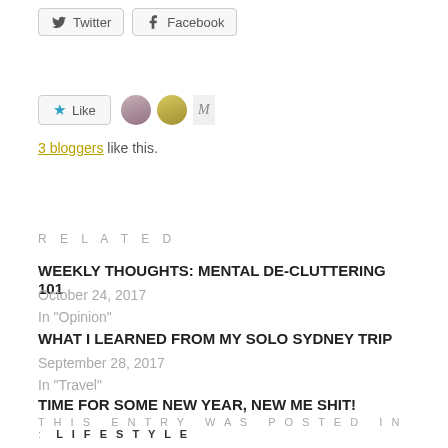[Figure (screenshot): Twitter and Facebook share buttons]
[Figure (screenshot): Like button with star icon and 3 blogger avatars]
3 bloggers like this.
RELATED
WEEKLY THOUGHTS: MENTAL DE-CLUTTERING 101
October 24, 2017
In "Opinion"
WHAT I LEARNED FROM MY SOLO SYDNEY TRIP
September 28, 2017
In "Travel"
TIME FOR SOME NEW YEAR, NEW ME SHIT!
January 2, 2018
In "Opinion"
THIS ENTRY WAS POSTED IN: LIFESTYLE